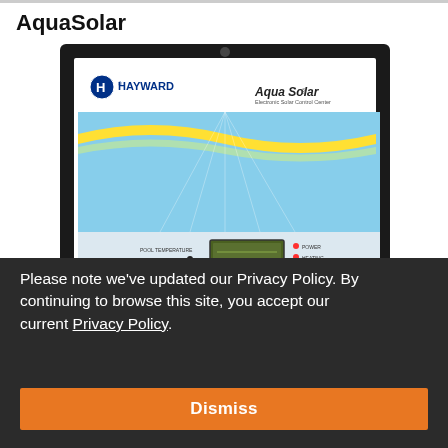AquaSolar
[Figure (photo): Hayward AquaSolar Electronic Solar Control Center device with display panel, controls, and indicator lights on a dark frame background.]
Please note we’ve updated our Privacy Policy. By continuing to browse this site, you accept our current Privacy Policy.
Dismiss